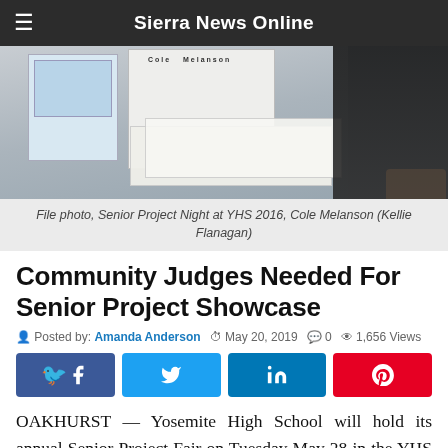Sierra News Online
[Figure (photo): File photo of Senior Project Night at YHS 2016, showing student Cole Melanson standing behind a display table with project boards and papers]
File photo, Senior Project Night at YHS 2016, Cole Melanson (Kellie Flanagan)
Community Judges Needed For Senior Project Showcase
Posted by: Amanda Anderson  May 20, 2019  0  1,656 Views
OAKHURST — Yosemite High School will hold its annual Senior Project Fair on Tuesday May 28 in the YHS cafeteria from 6-8 p.m. and organizers are looking for dozens of judges to assist in the